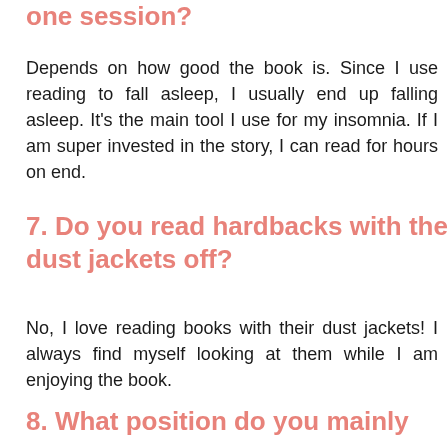one session?
Depends on how good the book is. Since I use reading to fall asleep, I usually end up falling asleep. It's the main tool I use for my insomnia. If I am super invested in the story, I can read for hours on end.
7. Do you read hardbacks with the dust jackets off?
No, I love reading books with their dust jackets! I always find myself looking at them while I am enjoying the book.
8. What position do you mainly use